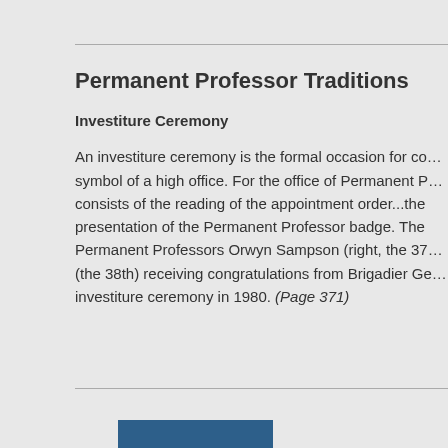Permanent Professor Traditions
Investiture Ceremony
An investiture ceremony is the formal occasion for conferring on an individual the symbol of a high office. For the office of Permanent Professor, this ceremony consists of the reading of the appointment order...the presentation of the Permanent Professor badge. The Permanent Professors Orwyn Sampson (right, the 37th) (the 38th) receiving congratulations from Brigadier General investiture ceremony in 1980. (Page 371)